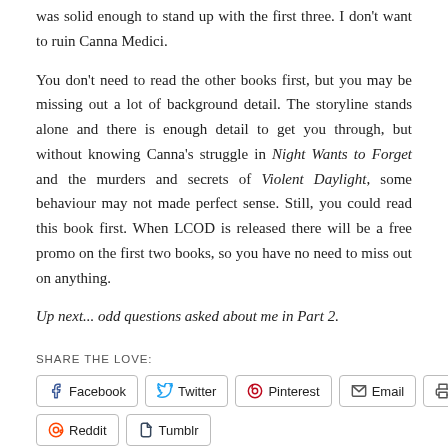was solid enough to stand up with the first three. I don't want to ruin Canna Medici.
You don't need to read the other books first, but you may be missing out a lot of background detail. The storyline stands alone and there is enough detail to get you through, but without knowing Canna's struggle in Night Wants to Forget and the murders and secrets of Violent Daylight, some behaviour may not made perfect sense. Still, you could read this book first. When LCOD is released there will be a free promo on the first two books, so you have no need to miss out on anything.
Up next... odd questions asked about me in Part 2.
SHARE THE LOVE:
Facebook
Twitter
Pinterest
Email
Print
Reddit
Tumblr